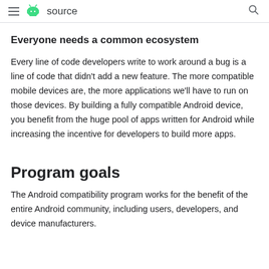≡ 🤖 source 🔍
Everyone needs a common ecosystem
Every line of code developers write to work around a bug is a line of code that didn't add a new feature. The more compatible mobile devices are, the more applications we'll have to run on those devices. By building a fully compatible Android device, you benefit from the huge pool of apps written for Android while increasing the incentive for developers to build more apps.
Program goals
The Android compatibility program works for the benefit of the entire Android community, including users, developers, and device manufacturers.